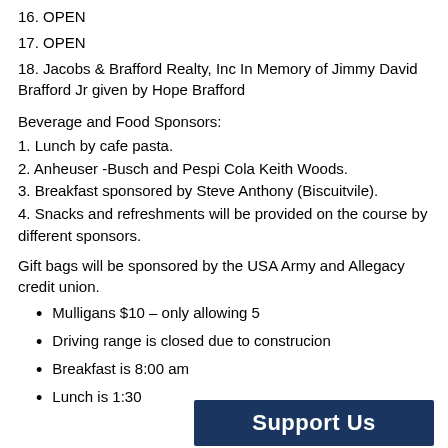16. OPEN
17. OPEN
18. Jacobs & Brafford Realty, Inc In Memory of Jimmy David Brafford Jr given by Hope Brafford
Beverage and Food Sponsors:
1. Lunch by cafe pasta.
2. Anheuser -Busch and Pespi Cola Keith Woods.
3. Breakfast sponsored by Steve Anthony (Biscuitvile).
4. Snacks and refreshments will be provided on the course by different sponsors.
Gift bags will be sponsored by the USA Army and Allegacy credit union.
Mulligans $10 – only allowing 5
Driving range is closed due to construcion
Breakfast is 8:00 am
Lunch is 1:30
[Figure (other): Support Us banner button]